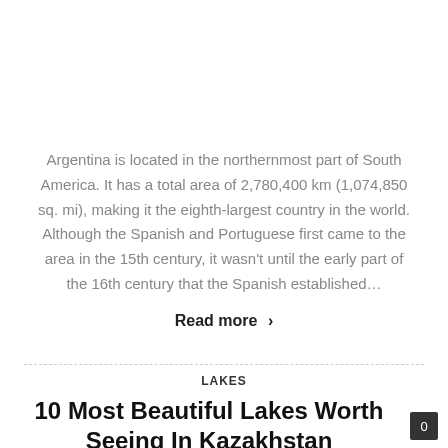Argentina is located in the northernmost part of South America. It has a total area of 2,780,400 km (1,074,850 sq. mi), making it the eighth-largest country in the world. Although the Spanish and Portuguese first came to the area in the 15th century, it wasn't until the early part of the 16th century that the Spanish established...
Read more >
LAKES
10 Most Beautiful Lakes Worth Seeing In Kazakhstan